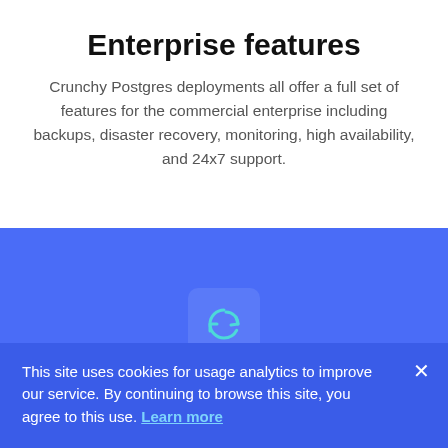Enterprise features
Crunchy Postgres deployments all offer a full set of features for the commercial enterprise including backups, disaster recovery, monitoring, high availability, and 24x7 support.
[Figure (illustration): Blue background section with a rounded square icon containing a refresh/reload circular arrow symbol in cyan/teal color]
This site uses cookies for usage analytics to improve our service. By continuing to browse this site, you agree to this use. Learn more